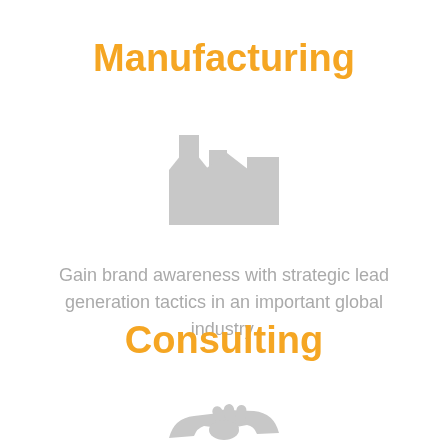Manufacturing
[Figure (illustration): Gray factory/manufacturing building icon with smokestacks]
Gain brand awareness with strategic lead generation tactics in an important global industry.
Consulting
[Figure (illustration): Gray handshake/consulting icon]